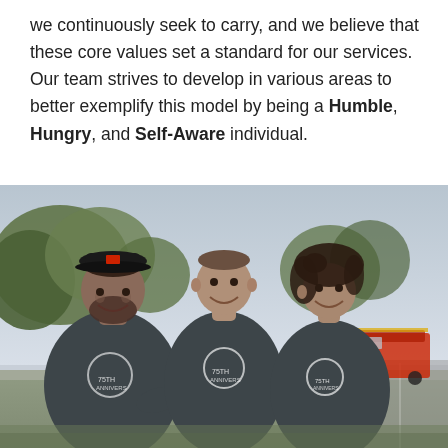we continuously seek to carry, and we believe that these core values set a standard for our services. Our team strives to develop in various areas to better exemplify this model by being a Humble, Hungry, and Self-Aware individual.
[Figure (photo): Three people wearing matching dark grey '75th Anniversary' branded t-shirts smiling outdoors. A man with a beard and black cap on the left, a young man in the center, and a woman with curly hair on the right. Trees, a fire truck, and a parking lot are visible in the background.]